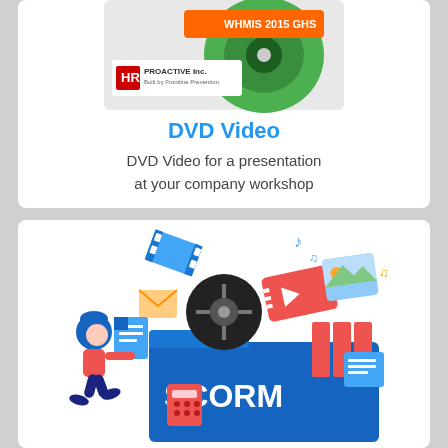[Figure (illustration): DVD case with WHMIS 2015 GHS label and HR Proactive Inc. branding, showing a green disc]
DVD Video
DVD Video for a presentation at your company workshop
[Figure (illustration): Illustration of a person pushing a large blue folder labeled SCORM, with various media icons (film reel, music notes, video ticket, photo, documents, envelope, calculator) coming out of the folder]